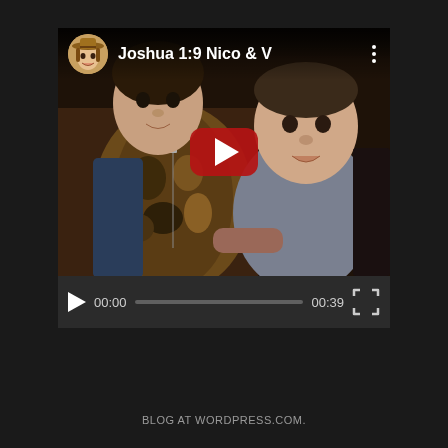[Figure (screenshot): YouTube-style video player screenshot showing two young children. The video is paused at 00:00 with a total duration of 00:39. The video title reads 'Joshua 1:9 Nico & V' with a circular avatar icon in the top-left. A red YouTube play button is centered on the thumbnail. The controls bar shows a play button, time display '00:00', a progress bar, end time '00:39', and a fullscreen button.]
BLOG AT WORDPRESS.COM.